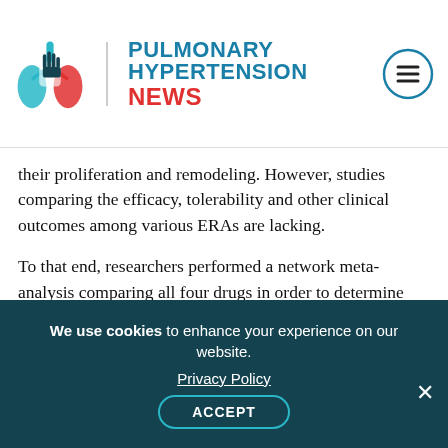PULMONARY HYPERTENSION NEWS
their proliferation and remodeling. However, studies comparing the efficacy, tolerability and other clinical outcomes among various ERAs are lacking.
To that end, researchers performed a network meta-analysis comparing all four drugs in order to determine which one is the most efficient in PAH treatment. The team searched in several databases — PubMed, Embase and Cochrane Library – for published studies containing keywords and terms such as pulmonary arterial hypertension,
We use cookies to enhance your experience on our website. Privacy Policy ACCEPT